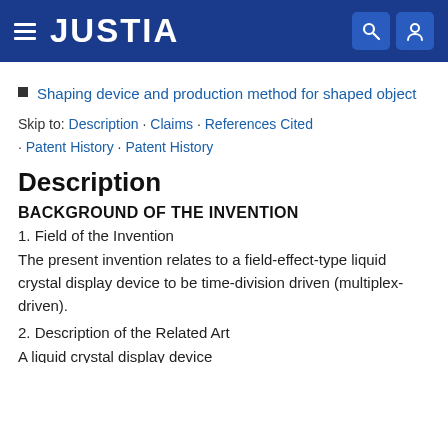JUSTIA
Shaping device and production method for shaped object
Skip to: Description · Claims · References Cited · Patent History · Patent History
Description
BACKGROUND OF THE INVENTION
1. Field of the Invention
The present invention relates to a field-effect-type liquid crystal display device to be time-division driven (multiplex-driven).
2. Description of the Related Art
A liquid crystal display device ...